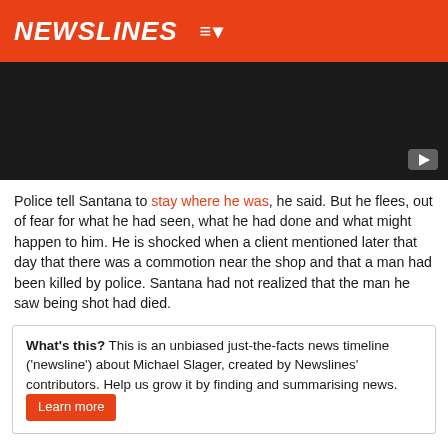NEWSLINES
[Figure (screenshot): Dark video placeholder with a YouTube play button in the bottom-right corner]
Police tell Santana to stay where he was, he said. But he flees, out of fear for what he had seen, what he had done and what might happen to him. He is shocked when a client mentioned later that day that there was a commotion near the shop and that a man had been killed by police. Santana had not realized that the man he saw being shot had died.
What's this? This is an unbiased just-the-facts news timeline ('newsline') about Michael Slager, created by Newslines' contributors. Help us grow it by finding and summarising news. Learn more